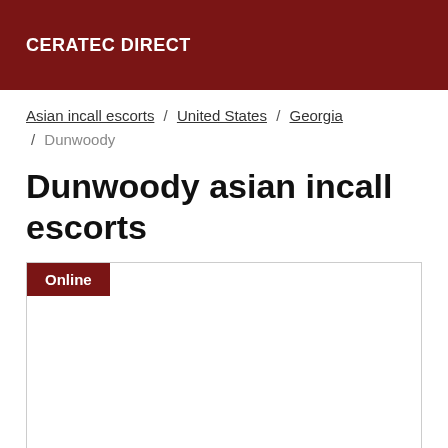CERATEC DIRECT
Asian incall escorts / United States / Georgia / Dunwoody
Dunwoody asian incall escorts
[Figure (other): Listing card with Online badge and empty content area]